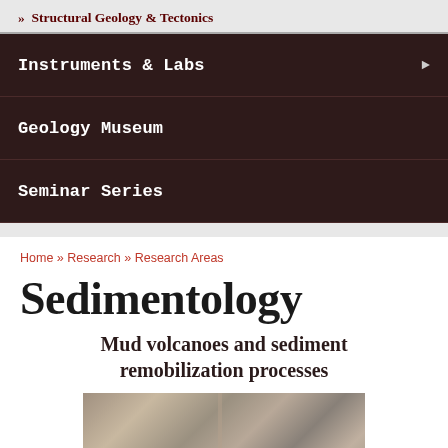» Structural Geology & Tectonics
Instruments & Labs
Geology Museum
Seminar Series
Home » Research » Research Areas
Sedimentology
Mud volcanoes and sediment remobilization processes
[Figure (photo): Photograph of mud volcano or sediment remobilization feature in the field, showing rock/mud formations in sepia/grayscale tones]